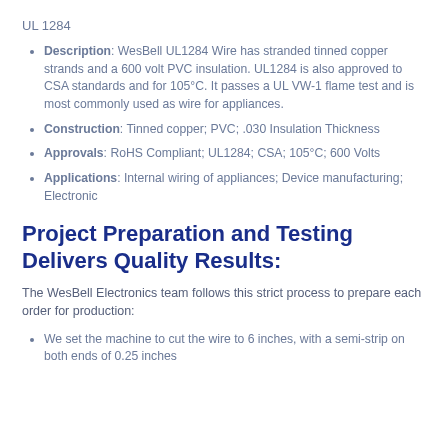UL 1284
Description: WesBell UL1284 Wire has stranded tinned copper strands and a 600 volt PVC insulation. UL1284 is also approved to CSA standards and for 105°C. It passes a UL VW-1 flame test and is most commonly used as wire for appliances.
Construction: Tinned copper; PVC; .030 Insulation Thickness
Approvals: RoHS Compliant; UL1284; CSA; 105°C; 600 Volts
Applications: Internal wiring of appliances; Device manufacturing; Electronic
Project Preparation and Testing Delivers Quality Results:
The WesBell Electronics team follows this strict process to prepare each order for production:
We set the machine to cut the wire to 6 inches, with a semi-strip on both ends of 0.25 inches